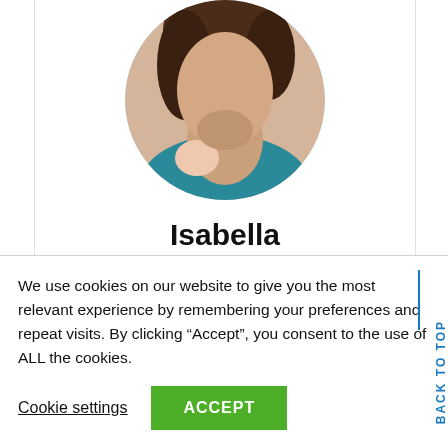[Figure (photo): Circular cropped profile photo of a woman with brown hair, wearing a teal/blue top and light pink garment, photographed from below the face showing neck and shoulder area]
Isabella
Let The World Know Your Good Soul ============================ Let the world know how powerful it is to have a
We use cookies on our website to give you the most relevant experience by remembering your preferences and repeat visits. By clicking “Accept”, you consent to the use of ALL the cookies.
Cookie settings
ACCEPT